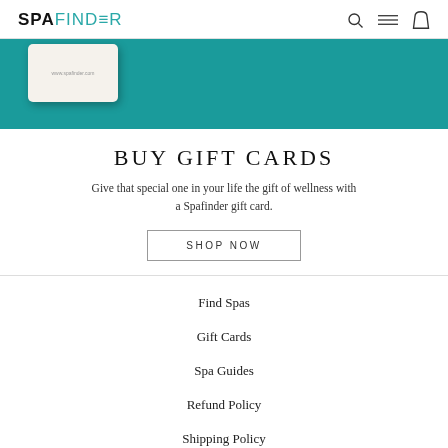SPAFINDER
[Figure (photo): Teal background hero image with a Spafinder gift card visible in the upper left corner]
BUY GIFT CARDS
Give that special one in your life the gift of wellness with a Spafinder gift card.
SHOP NOW
Find Spas
Gift Cards
Spa Guides
Refund Policy
Shipping Policy